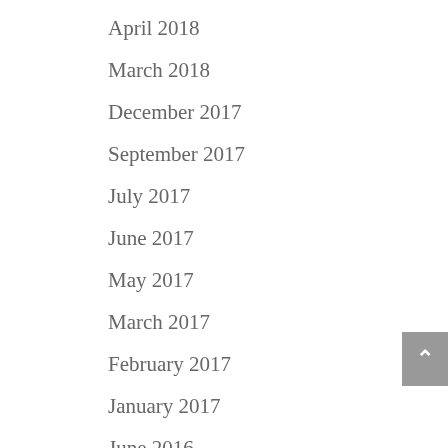April 2018
March 2018
December 2017
September 2017
July 2017
June 2017
May 2017
March 2017
February 2017
January 2017
June 2016
May 2016
April 2016
March 2016
February 2016